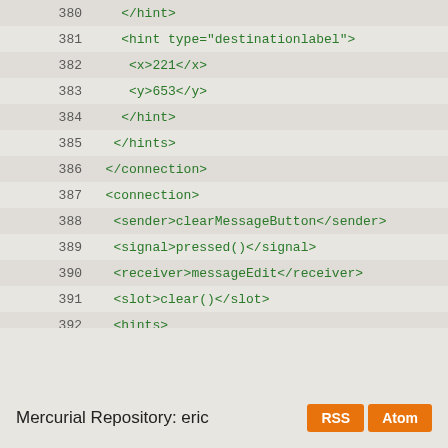[Figure (screenshot): Code viewer showing XML source lines 380-404 with line numbers and highlighted alternate rows. Lines show connection/hints XML for a Qt UI file. Line 149/404 is highlighted in orange. Below the code area is a footer with 'Mercurial Repository: eric' text and RSS/Atom orange buttons.]
Mercurial Repository: eric